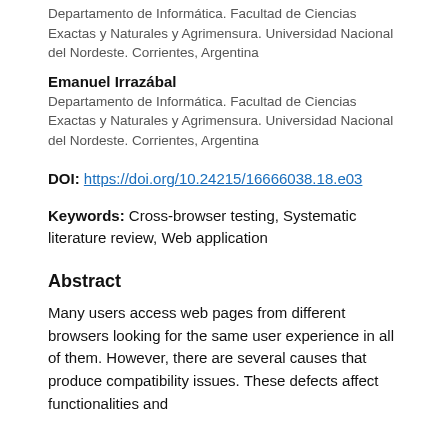Departamento de Informática. Facultad de Ciencias Exactas y Naturales y Agrimensura. Universidad Nacional del Nordeste. Corrientes, Argentina
Emanuel Irrazábal
Departamento de Informática. Facultad de Ciencias Exactas y Naturales y Agrimensura. Universidad Nacional del Nordeste. Corrientes, Argentina
DOI: https://doi.org/10.24215/16666038.18.e03
Keywords: Cross-browser testing, Systematic literature review, Web application
Abstract
Many users access web pages from different browsers looking for the same user experience in all of them. However, there are several causes that produce compatibility issues. These defects affect functionalities and